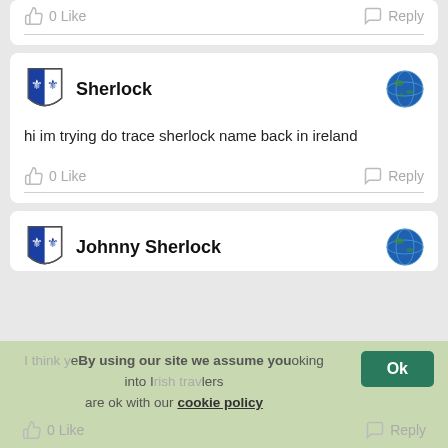0 Like   Reply
Sherlock
hi im trying do trace sherlock name back in ireland
0 Like   Reply
Johnny Sherlock
I think you're looking into Irish travelers
0 Like   Reply
By using our site we assume you are ok with our cookie policy   Ok